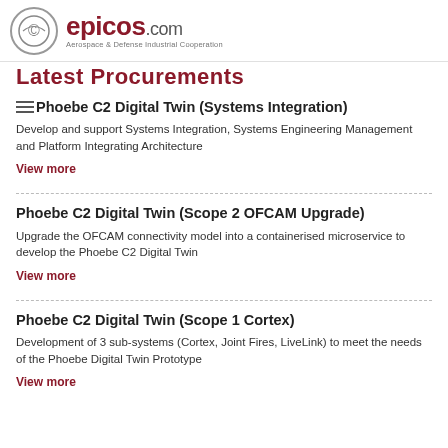[Figure (logo): epicos.com logo with circular icon and tagline Aerospace & Defense Industrial Cooperation]
Latest Procurements
Phoebe C2 Digital Twin (Systems Integration)
Develop and support Systems Integration, Systems Engineering Management and Platform Integrating Architecture
View more
Phoebe C2 Digital Twin (Scope 2 OFCAM Upgrade)
Upgrade the OFCAM connectivity model into a containerised microservice to develop the Phoebe C2 Digital Twin
View more
Phoebe C2 Digital Twin (Scope 1 Cortex)
Development of 3 sub-systems (Cortex, Joint Fires, LiveLink) to meet the needs of the Phoebe Digital Twin Prototype
View more